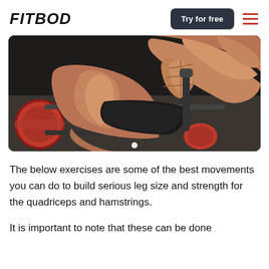FITBOD
[Figure (photo): A muscular bodybuilder performing leg exercises on a leg curl/extension machine with red padding, showing defined quadriceps and hamstrings. The athlete is shirtless and the equipment is black with red upholstery.]
The below exercises are some of the best movements you can do to build serious leg size and strength for the quadriceps and hamstrings.
It is important to note that these can be done